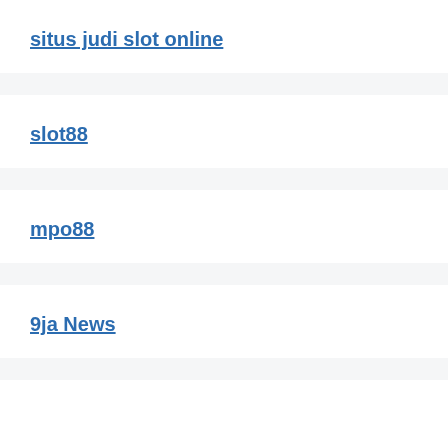situs judi slot online
slot88
mpo88
9ja News